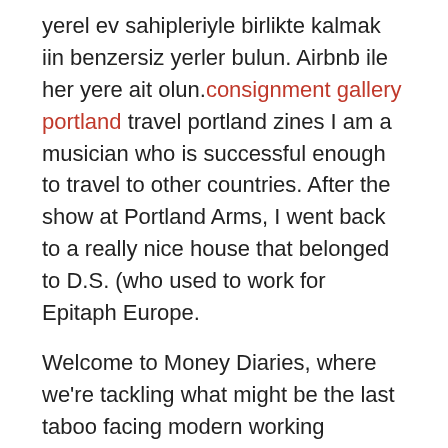yerel ev sahipleriyle birlikte kalmak iin benzersiz yerler bulun. Airbnb ile her yere ait olun. consignment gallery portland travel portland zines I am a musician who is successful enough to travel to other countries. After the show at Portland Arms, I went back to a really nice house that belonged to D.S. (who used to work for Epitaph Europe.
Welcome to Money Diaries, where we're tackling what might be the last taboo facing modern working women: money. We're asking.
Find national chains, local Portland favorites, or new neighborhood restaurants, on Grubhub. Order online, and get Wings delivery, or takeout, from Portland restaurants near you, fast. Deals and.
Best Wings in South Portland, Maine: Find 8,400 Tripadvisor traveller reviews of THE BEST Wings and search by price,